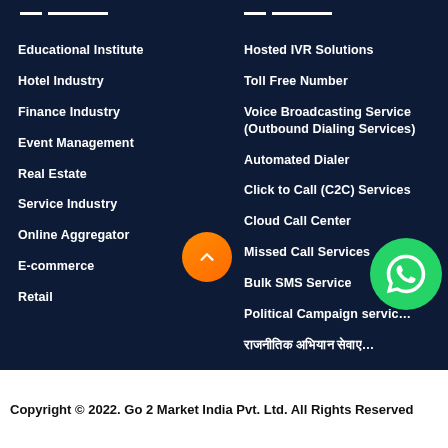Educational Institute
Hotel Industry
Finance Industry
Event Management
Real Estate
Service Industry
Online Aggregator
E-commerce
Retail
Hosted IVR Solutions
Toll Free Number
Voice Broadcasting Service (Outbound Dialing Services)
Automated Dialer
Click to Call (C2C) Services
Cloud Call Center
Missed Call Services
Bulk SMS Service
Political Campaign servic…
राजनीतिक अभियान सेवाए…
Copyright © 2022. Go 2 Market India Pvt. Ltd. All Rights Reserved